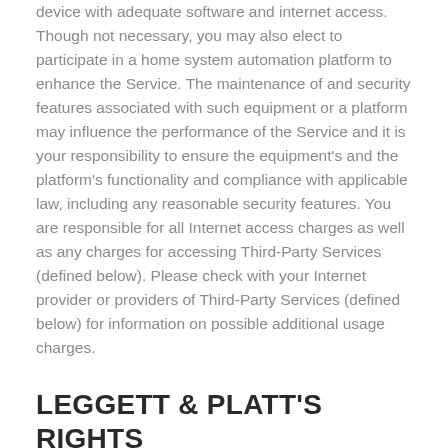device with adequate software and internet access. Though not necessary, you may also elect to participate in a home system automation platform to enhance the Service. The maintenance of and security features associated with such equipment or a platform may influence the performance of the Service and it is your responsibility to ensure the equipment's and the platform's functionality and compliance with applicable law, including any reasonable security features. You are responsible for all Internet access charges as well as any charges for accessing Third-Party Services (defined below). Please check with your Internet provider or providers of Third-Party Services (defined below) for information on possible additional usage charges.
LEGGETT & PLATT'S RIGHTS
“Leggett & Platt Content” includes any photos, images, graphics, video, audio, data, text, music, software, works